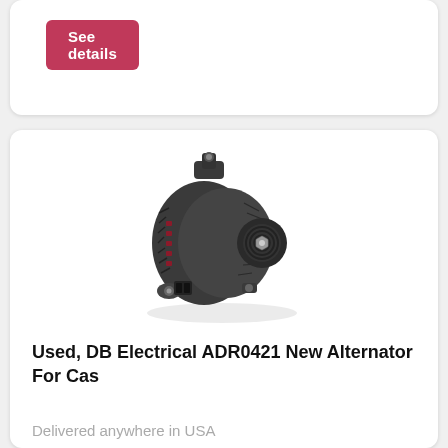See details
[Figure (photo): Photo of a DB Electrical ADR0421 alternator, dark gray metal automotive part with pulley visible]
Used, DB Electrical ADR0421 New Alternator For Cas
Delivered anywhere in USA